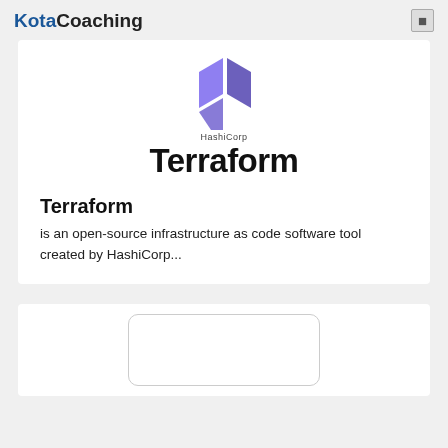KotaCoaching
[Figure (logo): HashiCorp Terraform logo: purple diamond/arrow shape above 'HashiCorp' label and bold 'Terraform' wordmark]
Terraform
is an open-source infrastructure as code software tool created by HashiCorp...
[Figure (other): Partial bottom card with a rounded inner rectangle, content not visible]